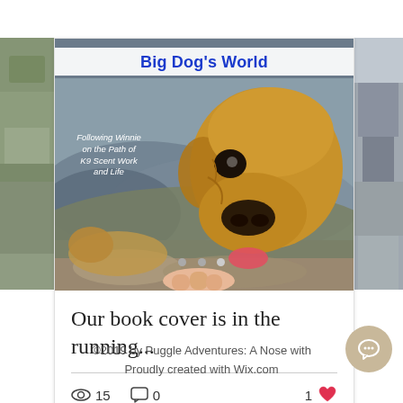[Figure (screenshot): Website screenshot showing a blog post card for 'Big Dog's World' with a book cover image featuring a dog, post title 'Our book cover is in the running...', view/comment/like counts, navigation dots, and footer]
Big Dog's World
Following Winnie on the Path of K9 Scent Work and Life
Our book cover is in the running...
15 views · 0 comments · 1 like
©2019 by Puggle Adventures: A Nose with
Proudly created with Wix.com